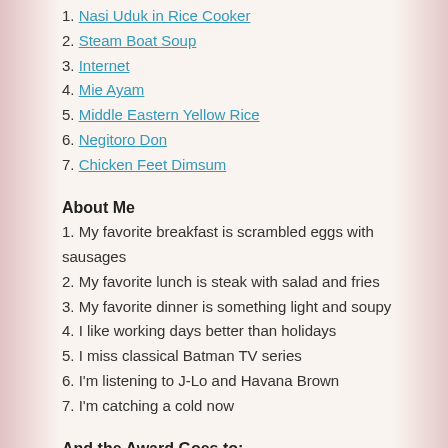1. Nasi Uduk in Rice Cooker
2. Steam Boat Soup
3. Internet
4. Mie Ayam
5. Middle Eastern Yellow Rice
6. Negitoro Don
7. Chicken Feet Dimsum
About Me
1. My favorite breakfast is scrambled eggs with sausages
2. My favorite lunch is steak with salad and fries
3. My favorite dinner is something light and soupy
4. I like working days better than holidays
5. I miss classical Batman TV series
6. I'm listening to J-Lo and Havana Brown
7. I'm catching a cold now
And the Award Goes to:
1. Acorn In My Kitchen
2. Rantings of an Amateur Chef
3. Cooking in Sens
4. Frugal Foodies